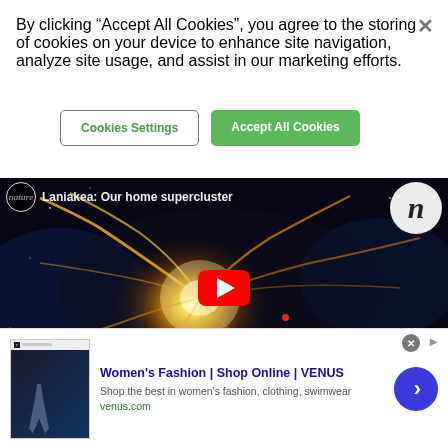By clicking “Accept All Cookies”, you agree to the storing of cookies on your device to enhance site navigation, analyze site usage, and assist in our marketing efforts.
Cookies Settings
Accept All Cookies
[Figure (screenshot): YouTube video thumbnail showing 'Laniakea: Our home supercluster' from Nature channel. Dark space background with glowing golden-yellow galaxy filaments and a red YouTube play button in the center. Nature 'n' logo in top right corner. A small red dot visible near center-right.]
[Figure (screenshot): Online advertisement for VENUS women's fashion. Shows a website screenshot on left, text 'Women's Fashion | Shop Online | VENUS' in blue, subtitle 'Shop the best in women's fashion, clothing, swimwear', URL venus.com in green, and a blue circular arrow button on the right.]